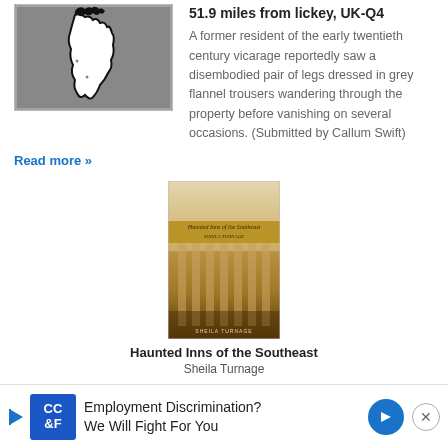[Figure (map): A grey map image showing a black outline region on grey background]
51.9 miles from lickey, UK-Q4
A former resident of the early twentieth century vicarage reportedly saw a disembodied pair of legs dressed in grey flannel trousers wandering through the property before vanishing on several occasions. (Submitted by Callum Swift)
Read more »
[Figure (photo): Book cover of Haunted Inns of the Southeast by Sheila Turnage, showing a classical building with columns in warm golden tones]
Haunted Inns of the Southeast
Sheila Turnage
[Figure (infographic): Advertisement banner: CC&F Employment Discrimination? We Will Fight For You]